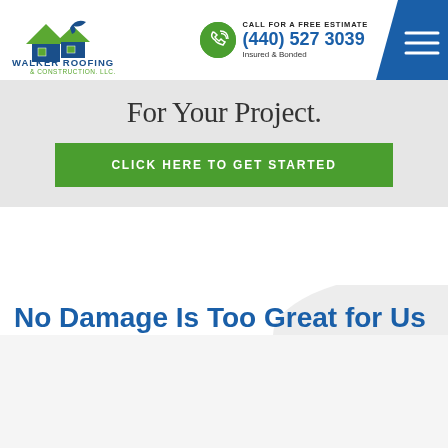[Figure (logo): Walker Roofing & Construction, LLC. logo with house/roof icon in green and dark blue]
CALL FOR A FREE ESTIMATE
(440) 527 3039
Insured & Bonded
[Figure (infographic): Blue diagonal navigation bar with hamburger menu (three horizontal white lines)]
For Your Project.
CLICK HERE TO GET STARTED
No Damage Is Too Great for Us